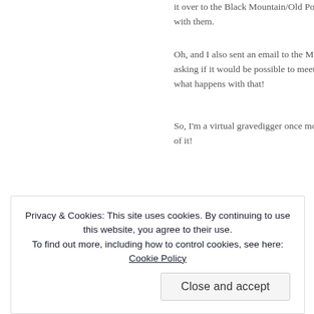it over to the Black Mountain/Old Fort … with them.
Oh, and I also sent an email to the Maj… asking if it would be possible to meet w… what happens with that!
So, I'm a virtual gravedigger once more… of it!
Advertisements
[Figure (logo): Automattic logo with text 'Build a better web']
Privacy & Cookies: This site uses cookies. By continuing to use this website, you agree to their use. To find out more, including how to control cookies, see here: Cookie Policy
Close and accept